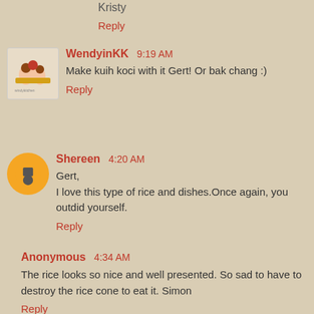Kristy
Reply
WendyinKK  9:19 AM
Make kuih koci with it Gert! Or bak chang :)
Reply
Shereen  4:20 AM
Gert, I love this type of rice and dishes.Once again, you outdid yourself.
Reply
Anonymous  4:34 AM
The rice looks so nice and well presented. So sad to have to destroy the rice cone to eat it. Simon
Reply